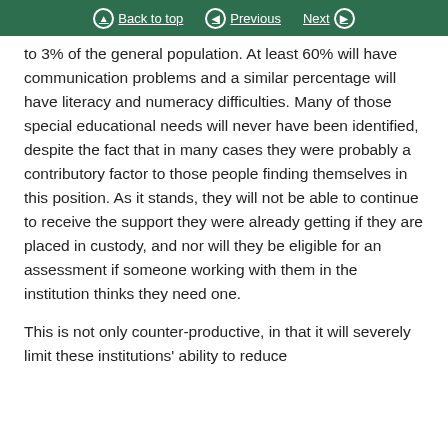Back to top | Previous | Next
to 3% of the general population. At least 60% will have communication problems and a similar percentage will have literacy and numeracy difficulties. Many of those special educational needs will never have been identified, despite the fact that in many cases they were probably a contributory factor to those people finding themselves in this position. As it stands, they will not be able to continue to receive the support they were already getting if they are placed in custody, and nor will they be eligible for an assessment if someone working with them in the institution thinks they need one.
This is not only counter-productive, in that it will severely limit these institutions' ability to reduce